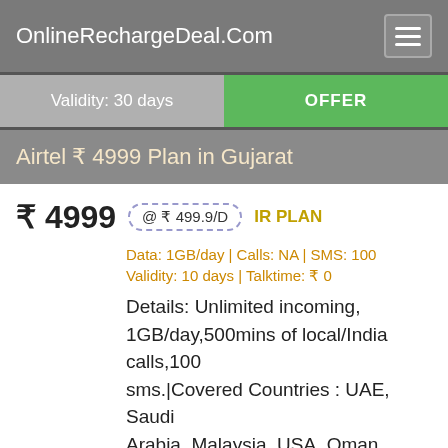OnlineRechargeDeal.Com
Validity: 30 days
OFFER
Airtel ₹ 4999 Plan in Gujarat
₹ 4999  @ ₹ 499.9/D  IR PLAN
Data: 1GB/day | Calls: NA | SMS: 100
Validity: 10 days | Talktime: ₹ 0
Details: Unlimited incoming, 1GB/day,500mins of local/India calls,100 sms.|Covered Countries : UAE, Saudi Arabia, Malaysia, USA, Oman, Qatar, U Kuwait, Singapore & more. Visit